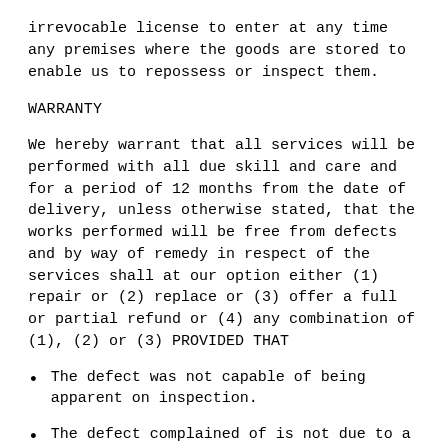irrevocable license to enter at any time any premises where the goods are stored to enable us to repossess or inspect them.
WARRANTY
We hereby warrant that all services will be performed with all due skill and care and for a period of 12 months from the date of delivery, unless otherwise stated, that the works performed will be free from defects and by way of remedy in respect of the services shall at our option either (1) repair or (2) replace or (3) offer a full or partial refund or (4) any combination of (1), (2) or (3) PROVIDED THAT
The defect was not capable of being apparent on inspection.
The defect complained of is not due to a fault with the specification provided by you.